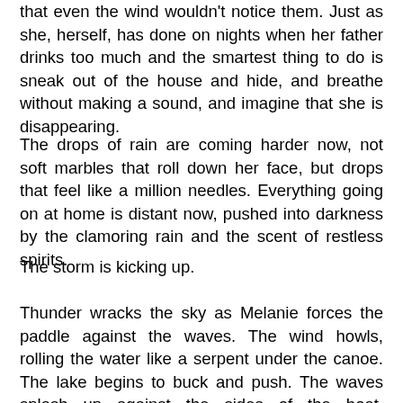that even the wind wouldn't notice them. Just as she, herself, has done on nights when her father drinks too much and the smartest thing to do is sneak out of the house and hide, and breathe without making a sound, and imagine that she is disappearing.
The drops of rain are coming harder now, not soft marbles that roll down her face, but drops that feel like a million needles. Everything going on at home is distant now, pushed into darkness by the clamoring rain and the scent of restless spirits.
The storm is kicking up.
Thunder wracks the sky as Melanie forces the paddle against the waves. The wind howls, rolling the water like a serpent under the canoe. The lake begins to buck and push. The waves splash up against the sides of the boat, drenching the children in icy water. Maya and Luke have started to cry, begging her to go back. Melanie pushes her wet hair out of her eyes and glances behind her toward the Shongo's property. For a moment, unmoving, she is captivated by the sight of the Diamond Trees, the two great